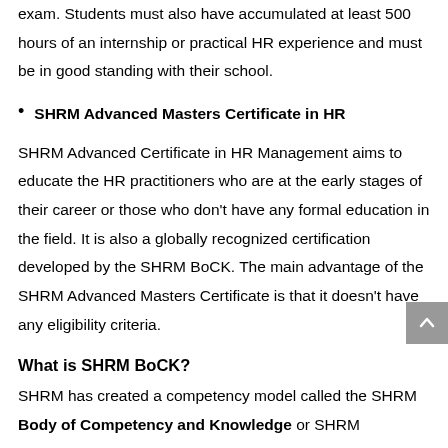exam. Students must also have accumulated at least 500 hours of an internship or practical HR experience and must be in good standing with their school.
SHRM Advanced Masters Certificate in HR
SHRM Advanced Certificate in HR Management aims to educate the HR practitioners who are at the early stages of their career or those who don't have any formal education in the field. It is also a globally recognized certification developed by the SHRM BoCK. The main advantage of the SHRM Advanced Masters Certificate is that it doesn't have any eligibility criteria.
What is SHRM BoCK?
SHRM has created a competency model called the SHRM Body of Competency and Knowledge or SHRM